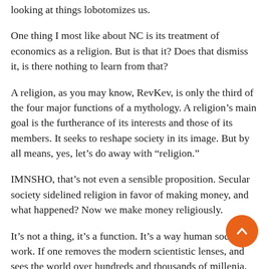looking at things lobotomizes us.
One thing I most like about NC is its treatment of economics as a religion. But is that it? Does that dismiss it, is there nothing to learn from that?
A religion, as you may know, RevKev, is only the third of the four major functions of a mythology. A religion’s main goal is the furtherance of its interests and those of its members. It seeks to reshape society in its image. But by all means, yes, let’s do away with “religion.”
IMNSHO, that’s not even a sensible proposition. Secular society sidelined religion in favor of making money, and what happened? Now we make money religiously.
It’s not a thing, it’s a function. It’s a way human societies work. If one removes the modern scientistic lenses, and sees the world over hundreds and thousands of millenia, you see some obvious patterns in human behavior.
Just as the ocean has been waving for a long, long time, the earth has been peopling. We’ve been being people for a long, long time. You can see our environments in the shapes of our bodies.